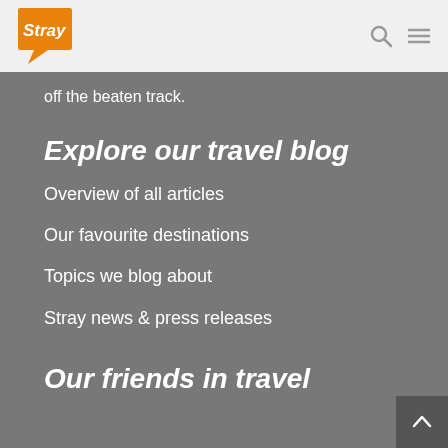[Figure (logo): Stray travel company logo — orange speech-bubble shape with 'Stray' text in white bold font]
off the beaten track.
Explore our travel blog
Overview of all articles
Our favourite destinations
Topics we blog about
Stray news & press releases
Our friends in travel